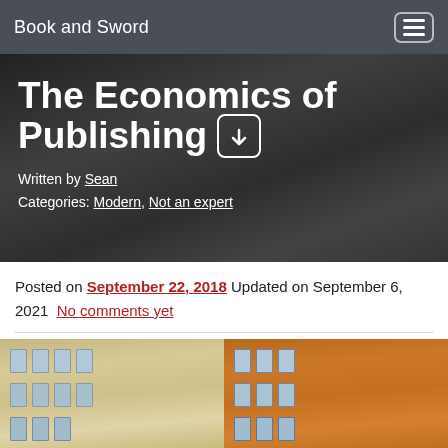Book and Sword
The Economics of Publishing
Written by Sean
Categories: Modern, Not an expert
Posted on September 22, 2018 Updated on September 6, 2021 No comments yet
[Figure (photo): Photograph of two European-style building facades side by side — a cream/yellow building on the left and an orange-brown building on the right, both with multiple windows.]